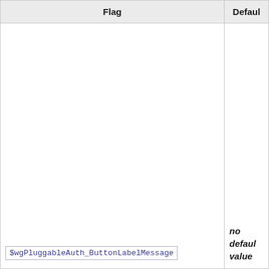| Flag | Default |
| --- | --- |
| $wgPluggableAuth_ButtonLabelMessage | no default value |